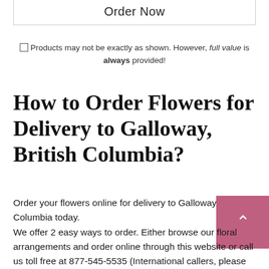Order Now
Products may not be exactly as shown. However, full value is always provided!
How to Order Flowers for Delivery to Galloway, British Columbia?
Order your flowers online for delivery to Galloway British Columbia today.
We offer 2 easy ways to order. Either browse our floral arrangements and order online through this website or call us toll free at 877-545-5535 (International callers, please phone +1-905-639-7001). Our selected local Galloway flower shops are usually possible same day and next day flower delivery in Galloway, BC. Web site is open 24 hours for online orders. Phone